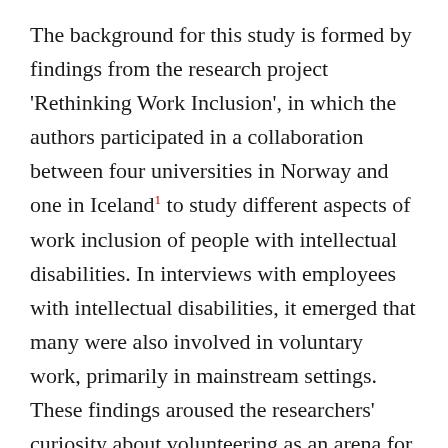The background for this study is formed by findings from the research project 'Rethinking Work Inclusion', in which the authors participated in a collaboration between four universities in Norway and one in Iceland¹ to study different aspects of work inclusion of people with intellectual disabilities. In interviews with employees with intellectual disabilities, it emerged that many were also involved in voluntary work, primarily in mainstream settings. These findings aroused the researchers' curiosity about volunteering as an arena for work inclusion, and subsequently, the authors decided to explore this further in a separate study. In this article, we present the findings from this study.